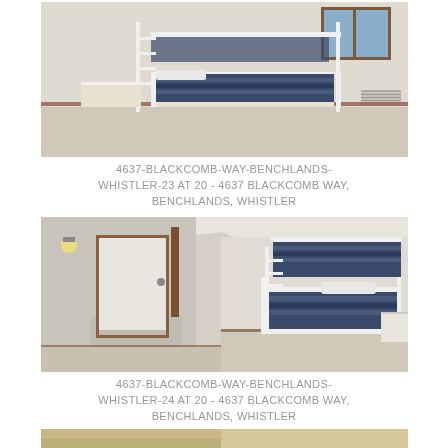[Figure (photo): Interior bedroom photo showing white bunk bed with dark navy striped bedding, beige carpet floor, white walls, baseboard heater on right wall, small window with brown frame in upper right corner]
4637-BLACKCOMB-WAY-BENCHLANDS-WHISTLER-23 AT 20 - 4637 BLACKCOMB WAY, BENCHLANDS, WHISTLER
[Figure (photo): Interior bedroom photo showing another angle with white bunk bed on right side with dark navy striped bedding, open door with brown wood frame on left, wall sconce light, white walls, beige carpet]
4637-BLACKCOMB-WAY-BENCHLANDS-WHISTLER-24 AT 20 - 4637 BLACKCOMB WAY, BENCHLANDS, WHISTLER
[Figure (photo): Partial view of another interior room photo, cropped at bottom of page]